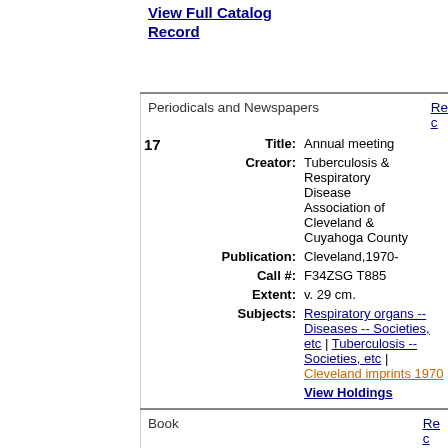View Full Catalog Record
Periodicals and Newspapers
| # | Field | Value |
| --- | --- | --- |
| 17 | Title: | Annual meeting |
|  | Creator: | Tuberculosis & Respiratory Disease Association of Cleveland & Cuyahoga County |
|  | Publication: | Cleveland,1970- |
|  | Call #: | F34ZSG T885 |
|  | Extent: | v. 29 cm. |
|  | Subjects: | Respiratory organs -- Diseases -- Societies, etc | Tuberculosis -- Societies, etc | Cleveland imprints 1970 |
|  |  | View Holdings |
Book